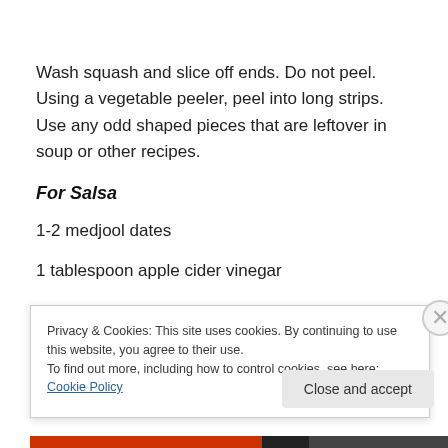Wash squash and slice off ends. Do not peel. Using a vegetable peeler, peel into long strips. Use any odd shaped pieces that are leftover in soup or other recipes.
For Salsa
1-2 medjool dates
1 tablespoon apple cider vinegar
Privacy & Cookies: This site uses cookies. By continuing to use this website, you agree to their use. To find out more, including how to control cookies, see here: Cookie Policy